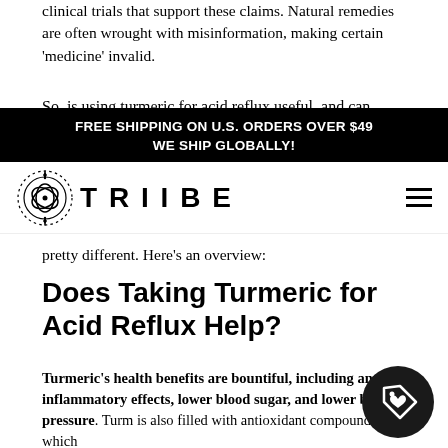clinical trials that support these claims. Natural remedies are often wrought with misinformation, making certain 'medicine' invalid.
FREE SHIPPING ON U.S. ORDERS OVER $49
WE SHIP GLOBALLY!
[Figure (logo): TRIIBE brand logo with decorative circular icon on the left and bold spaced lettering 'TRIIBE']
pretty different. Here's an overview:
Does Taking Turmeric for Acid Reflux Help?
Turmeric's health benefits are bountiful, including anti-inflammatory effects, lower blood sugar, and lower blood pressure. Turmeric is also filled with antioxidant compounds, which